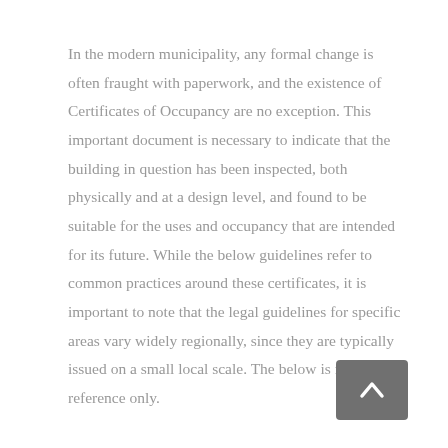In the modern municipality, any formal change is often fraught with paperwork, and the existence of Certificates of Occupancy are no exception. This important document is necessary to indicate that the building in question has been inspected, both physically and at a design level, and found to be suitable for the uses and occupancy that are intended for its future. While the below guidelines refer to common practices around these certificates, it is important to note that the legal guidelines for specific areas vary widely regionally, since they are typically issued on a small local scale. The below is for reference only.